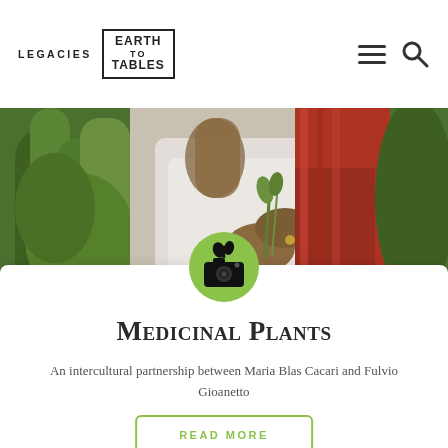LEGACIES EARTH TO TABLES
[Figure (photo): Person in white sweater and red shawl holding herbs/plants, surrounded by green medicinal plants]
[Figure (illustration): Green circle icon with plant/camera symbol indicating media/photo category]
Medicinal Plants
An intercultural partnership between Maria Blas Cacari and Fulvio Gioanetto
READ MORE